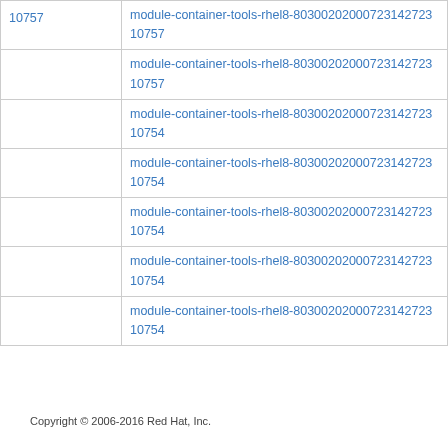|  | module-container-tools-rhel8-80300202000723142723...
10757 |
|  | module-container-tools-rhel8-80300202000723142723...
10757 |
|  | module-container-tools-rhel8-80300202000723142723...
10754 |
|  | module-container-tools-rhel8-80300202000723142723...
10754 |
|  | module-container-tools-rhel8-80300202000723142723...
10754 |
|  | module-container-tools-rhel8-80300202000723142723...
10754 |
|  | module-container-tools-rhel8-80300202000723142723...
10754 |
Copyright © 2006-2016 Red Hat, Inc.